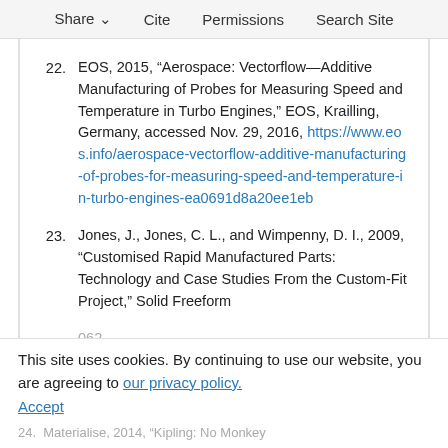Share  Cite  Permissions  Search Site
22. EOS, 2015, “Aerospace: Vectorflow—Additive Manufacturing of Probes for Measuring Speed and Temperature in Turbo Engines,” EOS, Krailling, Germany, accessed Nov. 29, 2016, https://www.eos.info/aerospace-vectorflow-additive-manufacturing-of-probes-for-measuring-speed-and-temperature-in-turbo-engines-ea0691d8a20ee1eb
23. Jones, J., Jones, C. L., and Wimpenny, D. I., 2009, “Customised Rapid Manufactured Parts: Technology and Case Studies From the Custom-Fit Project,” Solid Freeform ...062-
This site uses cookies. By continuing to use our website, you are agreeing to our privacy policy.
Accept
24. Materialise, 2014, “Kipling: No Monkey